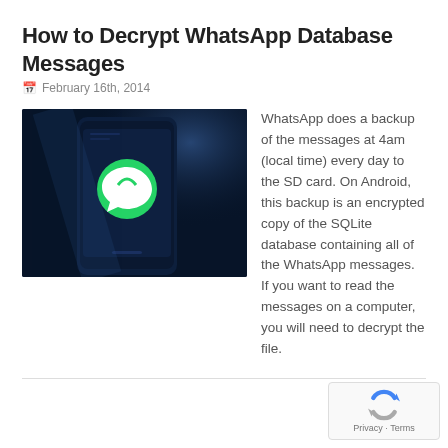How to Decrypt WhatsApp Database Messages
February 16th, 2014
[Figure (photo): Dark blue smartphone with WhatsApp logo displayed on screen]
WhatsApp does a backup of the messages at 4am (local time) every day to the SD card. On Android, this backup is an encrypted copy of the SQLite database containing all of the WhatsApp messages. If you want to read the messages on a computer, you will need to decrypt the file.
[Figure (logo): reCAPTCHA badge with Privacy and Terms links]